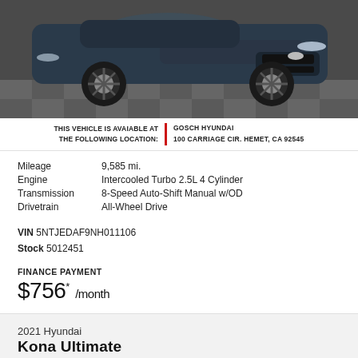[Figure (photo): Dark blue Hyundai SUV photographed from the front-quarter angle, showing wheels and front grille on a checkered floor.]
THIS VEHICLE IS AVAIABLE AT THE FOLLOWING LOCATION: | GOSCH HYUNDAI 100 CARRIAGE CIR. HEMET, CA 92545
|  |  |
| --- | --- |
| Mileage | 9,585 mi. |
| Engine | Intercooled Turbo 2.5L 4 Cylinder |
| Transmission | 8-Speed Auto-Shift Manual w/OD |
| Drivetrain | All-Wheel Drive |
VIN 5NTJEDAF9NH011106
Stock 5012451
FINANCE PAYMENT
$756* /month
2021 Hyundai
Kona Ultimate
[Figure (logo): GOSCH AUTO logo in blue italic bold text]
NEED HELP?